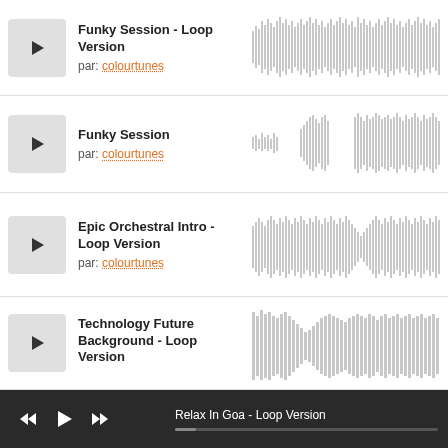[Figure (screenshot): Music track listing UI with 4 tracks: Funky Session - Loop Version, Funky Session, Epic Orchestral Intro - Loop Version, Technology Future Background - Loop Version. Each row has a play button, title, author (colourtunes), and waveform. Bottom bar shows player controls and Relax In Goa - Loop Version.]
Funky Session - Loop Version
par: colourtunes
Funky Session
par: colourtunes
Epic Orchestral Intro - Loop Version
par: colourtunes
Technology Future Background - Loop Version
Relax In Goa - Loop Version